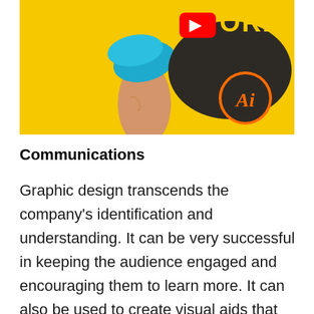[Figure (photo): A YouTube thumbnail image showing a hand holding a blue object against a yellow background, with a YouTube play button icon, text reading 'WORKS', and an Adobe Illustrator (Ai) logo in an orange circle on a dark speech bubble.]
Communications
Graphic design transcends the company’s identification and understanding. It can be very successful in keeping the audience engaged and encouraging them to learn more. It can also be used to create visual aids that can help you articulate your thoughts better. An informative picture can express